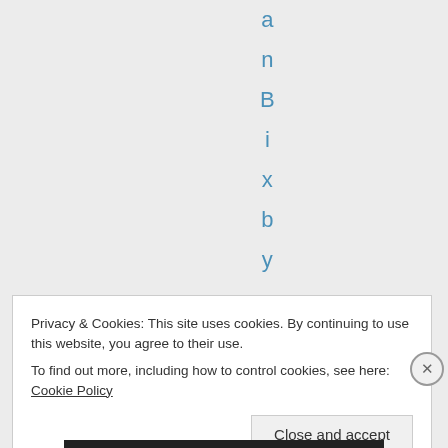a n B i x b y o n F e b r
Privacy & Cookies: This site uses cookies. By continuing to use this website, you agree to their use.
To find out more, including how to control cookies, see here: Cookie Policy
Close and accept